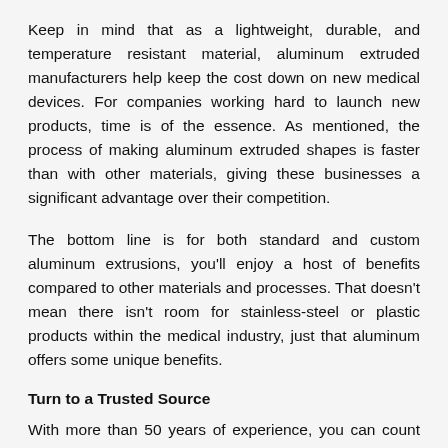Keep in mind that as a lightweight, durable, and temperature resistant material, aluminum extruded manufacturers help keep the cost down on new medical devices. For companies working hard to launch new products, time is of the essence. As mentioned, the process of making aluminum extruded shapes is faster than with other materials, giving these businesses a significant advantage over their competition.
The bottom line is for both standard and custom aluminum extrusions, you'll enjoy a host of benefits compared to other materials and processes. That doesn't mean there isn't room for stainless-steel or plastic products within the medical industry, just that aluminum offers some unique benefits.
Turn to a Trusted Source
With more than 50 years of experience, you can count on us at RPM Industries, LLC to deliver an exceptional